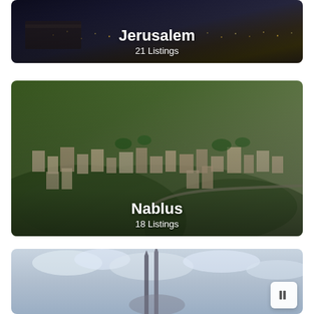[Figure (photo): Aerial/night view of Jerusalem city with ancient walls and city lights, with text overlay showing city name and listing count]
Jerusalem
21 Listings
[Figure (photo): Aerial daytime view of Nablus city showing dense residential buildings on hillsides surrounded by green trees, with text overlay showing city name and listing count]
Nablus
18 Listings
[Figure (photo): Partially visible photo showing minarets of a mosque against a cloudy sky, third city card cut off at bottom]